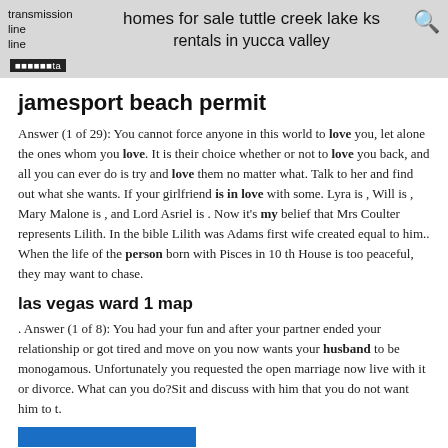transmission line line  |  homes for sale tuttle creek lake ks  |  rentals in yucca valley
jamesport beach permit
Answer (1 of 29): You cannot force anyone in this world to love you, let alone the ones whom you love. It is their choice whether or not to love you back, and all you can ever do is try and love them no matter what. Talk to her and find out what she wants. If your girlfriend is in love with some. Lyra is , Will is , Mary Malone is , and Lord Asriel is . Now it's my belief that Mrs Coulter represents Lilith. In the bible Lilith was Adams first wife created equal to him.. When the life of the person born with Pisces in 10 th House is too peaceful, they may want to chase.
las vegas ward 1 map
. Answer (1 of 8): You had your fun and after your partner ended your relationship or got tired and move on you now wants your husband to be monogamous. Unfortunately you requested the open marriage now live with it or divorce. What can you do?Sit and discuss with him that you do not want him to t.
[Figure (other): Blue button/bar at the bottom of the page]